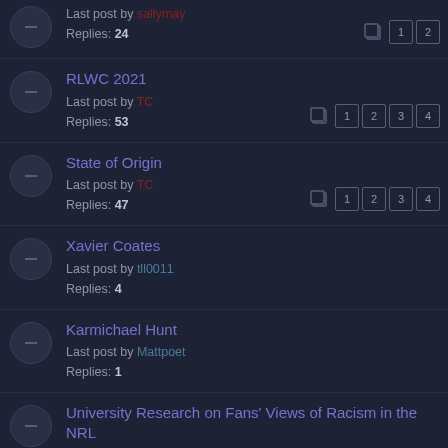Last post by sallymay
Replies: 24
RLWC 2021
Last post by [username]
Replies: 53
State of Origin
Last post by [username]
Replies: 47
Xavier Coates
Last post by tll0011
Replies: 4
Karmichael Hunt
Last post by Mattpoet
Replies: 1
University Research on Fans' Views of Racism in the NRL
Last post by theacademic
Replies: 1